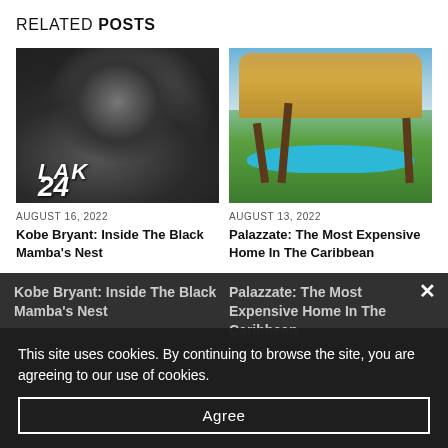RELATED POSTS
[Figure (photo): Black and white photo of Kobe Bryant in a Lakers jersey, number 24, looking intensely to the side]
[Figure (photo): Color photo of a luxury villa with a large swimming pool, palm trees, and a multi-story building in a tropical setting]
AUGUST 16, 2022
AUGUST 13, 2022
Kobe Bryant: Inside The Black Mamba's Nest
Palazzate: The Most Expensive Home In The Caribbean
This site uses cookies. By continuing to browse the site, you are agreeing to our use of cookies.
Agree